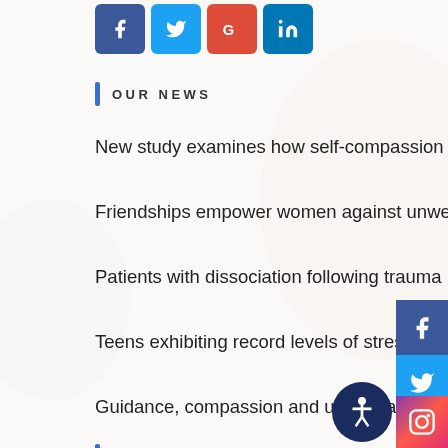[Figure (other): Social media share buttons row: Facebook (blue), Twitter (light blue), Google+ (red), LinkedIn (dark blue)]
OUR NEWS
New study examines how self-compassion makes life better
Friendships empower women against unwelcome sexual experiences
Patients with dissociation following trauma more likely to experience PTSD
Teens exhibiting record levels of stress-related mental health problems
Guidance, compassion and understanding.
GOOGLE REVIEWS & COMMENTS
[Figure (other): Vertical stack of social media floating buttons on right side: Facebook, Twitter, Google+, YouTube, Instagram. Plus circular accessibility icon.]